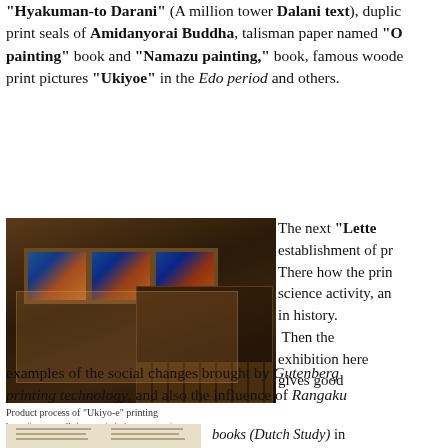"Hyakuman-to Darani" (A million tower Dalani text), duplicate print seals of Amidanyorai Buddha, talisman paper named "O painting" book and "Namazu painting," book, famous woodprint pictures "Ukiyoe" in the Edo period and others.
[Figure (photo): Museum exhibition showing framed ukiyo-e prints on display stands with additional artifacts in display cases]
Product process of "Ukiyo-e" printing
https://www.stroll-tips.com/printing-museum/
The next "Lette establishment of pr There how the prin science activity, an in history.
 Then the exhibition here gives good examples of the social changes brought by Gutenberg printing technology, and also the influence of Rangaku books (Dutch Study) in Japan in Edo period as well as the great contribution to promo Meiji by adoption of typographic
[Figure (photo): Open book showing two-column text, appears to be a historical printing example]
books (Dutch Study) in Japan in Edo period as well as the great contribution to promo Meiji by adoption of typographic